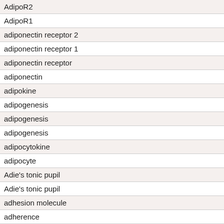| AdipoR2 |
| AdipoR1 |
| adiponectin receptor 2 |
| adiponectin receptor 1 |
| adiponectin receptor |
| adiponectin |
| adipokine |
| adipogenesis |
| adipogenesis |
| adipogenesis |
| adipocytokine |
| adipocyte |
| Adie's tonic pupil |
| Adie's tonic pupil |
| adhesion molecule |
| adherence |
| adherence |
| adenylate cyclase |